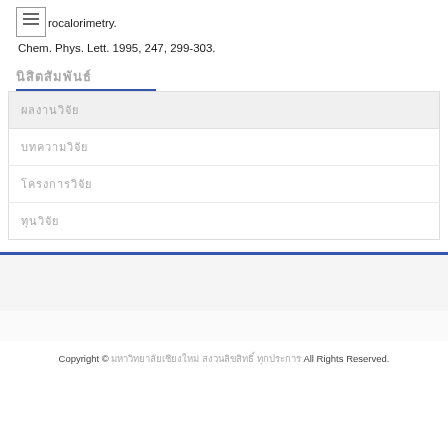microcalorimetry. Chem. Phys. Lett. 1995, 247, 299-303.
[redacted/non-Latin navigation title]
[redacted/non-Latin menu item 1]
[redacted/non-Latin menu item 2]
[redacted/non-Latin menu item 3]
[redacted/non-Latin menu item 4]
Copyright © [non-Latin text] All Rights Reserved.